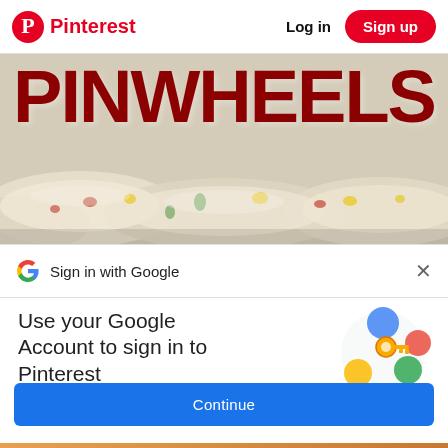Pinterest  Log in  Sign up
[Figure (photo): Close-up photo of pinwheel sandwiches (rolled tortilla wraps) with text PINWHEELS overlaid in large dark red bold letters]
Sign in with Google
Use your Google Account to sign in to Pinterest
No more passwords to remember. Signing in is fast, simple and secure.
[Figure (illustration): Google account security illustration: a golden key with colorful circular icons (blue, yellow, green, red/pink) arranged around it on a white background]
Continue